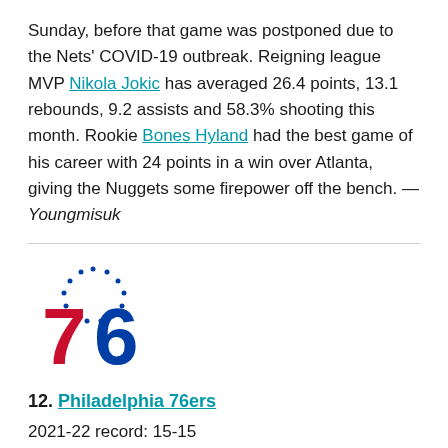Sunday, before that game was postponed due to the Nets' COVID-19 outbreak. Reigning league MVP Nikola Jokic has averaged 26.4 points, 13.1 rebounds, 9.2 assists and 58.3% shooting this month. Rookie Bones Hyland had the best game of his career with 24 points in a win over Atlanta, giving the Nuggets some firepower off the bench. — Youngmisuk
[Figure (logo): Philadelphia 76ers team logo — stars in circle above large red '7' and blue '6']
12. Philadelphia 76ers
2021-22 record: 15-15
Previous ranking: 8